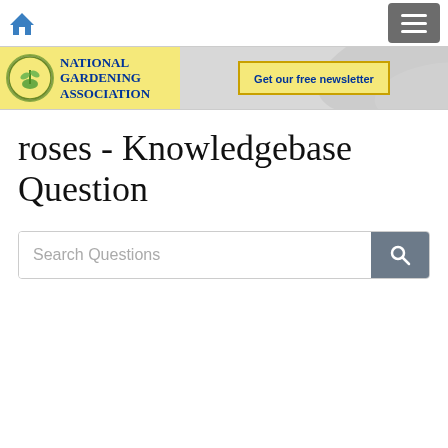National Gardening Association - navigation bar with home icon and hamburger menu
[Figure (logo): National Gardening Association logo with circular emblem and yellow background, alongside a 'Get our free newsletter' button on a gray banner]
roses - Knowledgebase Question
Search Questions